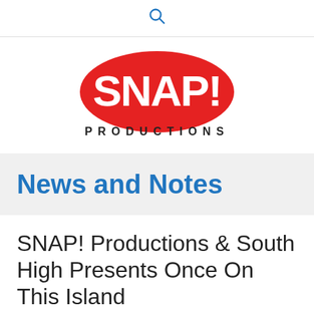🔍
[Figure (logo): SNAP! Productions logo — red oval with white SNAP! text and PRODUCTIONS in dark letters below]
News and Notes
SNAP! Productions & South High Presents Once On This Island